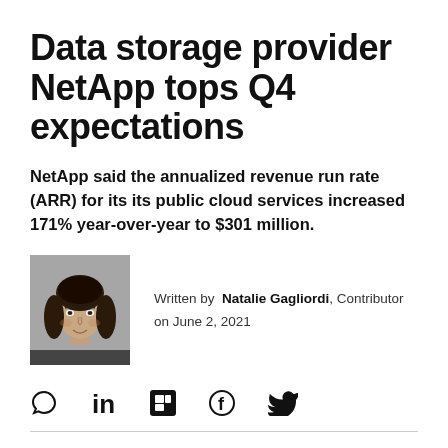Data storage provider NetApp tops Q4 expectations
NetApp said the annualized revenue run rate (ARR) for its its public cloud services increased 171% year-over-year to $301 million.
[Figure (photo): Black and white headshot photo of Natalie Gagliordi, a woman with dark shoulder-length hair, smiling]
Written by Natalie Gagliordi, Contributor
on June 2, 2021
[Figure (other): Social sharing icons: comment bubble, LinkedIn, Flipboard, Facebook, Twitter]